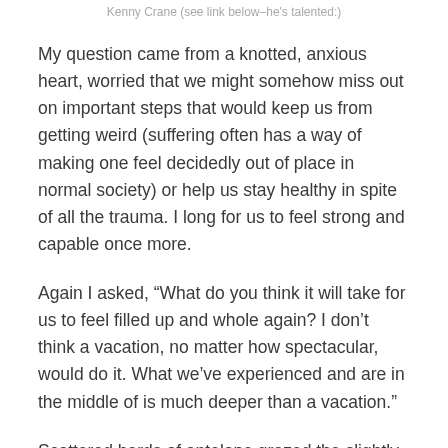Kenny Crane (see link below–he's talented:)
My question came from a knotted, anxious heart, worried that we might somehow miss out on important steps that would keep us from getting weird (suffering often has a way of making one feel decidedly out of place in normal society) or help us stay healthy in spite of all the trauma. I long for us to feel strong and capable once more.
Again I asked, “What do you think it will take for us to feel filled up and whole again? I don’t think a vacation, no matter how spectacular, would do it. What we’ve experienced and are in the middle of is much deeper than a vacation.”
Scattered herds of antelope grazed the slightly snow-